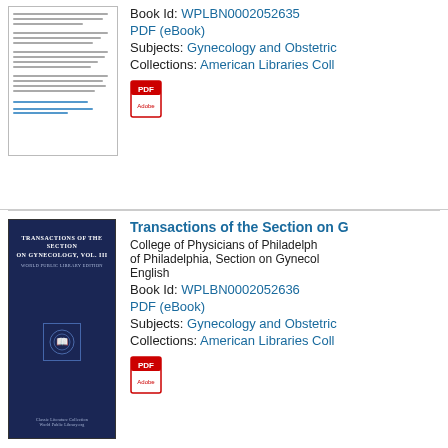[Figure (illustration): Thumbnail of a document/text page for a book listing]
Book Id: WPLBN0002052635
PDF (eBook)
Subjects: Gynecology and Obstetric...
Collections: American Libraries Coll...
[Figure (illustration): Dark navy blue book cover: TRANSACTIONS OF THE SECTION ON GYNECOLOGY, VOL. III, WORLD PUBLIC LIBRARY EDITION, with seal emblem and Classic Literature Collection / World Public Library.org footer]
Transactions of the Section on G...
College of Physicians of Philadelphia... of Philadelphia, Section on Gynecol...
English
Book Id: WPLBN0002052636
PDF (eBook)
Subjects: Gynecology and Obstetric...
Collections: American Libraries Coll...